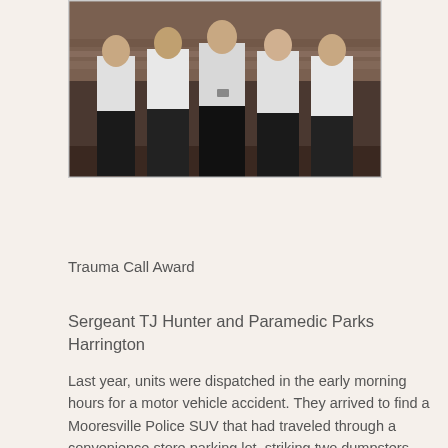[Figure (photo): Group photo of several people in white shirts and dark pants standing together indoors, likely at an award ceremony]
Trauma Call Award
Sergeant TJ Hunter and Paramedic Parks Harrington
Last year, units were dispatched in the early morning hours for a motor vehicle accident. They arrived to find a Mooresville Police SUV that had traveled through a convenience store parking lot, striking two dumpsters went over a retaining wall and came to rest nose first into a parking lot below. The police officer was still inside the vehicle; confused, combative and fighting for his life. Adding another element of danger was the dazed and confused police K9 that was trying to protect his handler. Other officers responding were able to secure the K9. One Paramedic was able to climb into the vehicle and using his military experience was able to disarm to officer, making